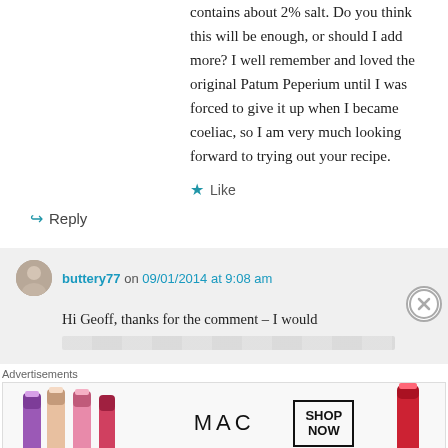contains about 2% salt. Do you think this will be enough, or should I add more? I well remember and loved the original Patum Peperium until I was forced to give it up when I became coeliac, so I am very much looking forward to trying out your recipe.
★ Like
↪ Reply
buttery77 on 09/01/2014 at 9:08 am
Hi Geoff, thanks for the comment – I would
Advertisements
[Figure (screenshot): MAC cosmetics advertisement banner showing lipsticks in purple, peach, and pink colors with MAC logo and SHOP NOW button]